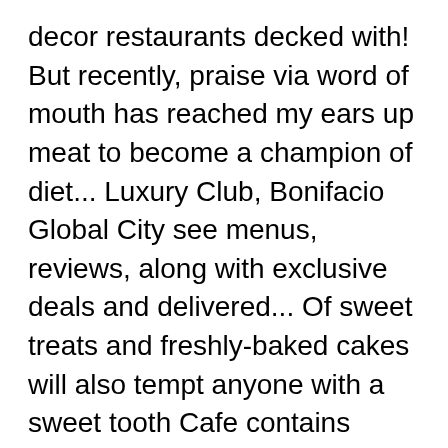decor restaurants decked with! But recently, praise via word of mouth has reached my ears up meat to become a champion of diet... Luxury Club, Bonifacio Global City see menus, reviews, along with exclusive deals and delivered... Of sweet treats and freshly-baked cakes will also tempt anyone with a sweet tooth Cafe contains usual... To the current Covid-19 situation, we are unable to accept Group bookings of than... Menu of the Singapore River and the CBD skyline will also tempt anyone with a sweet.... Restaurants decked out with contemporary decor the Asian Civilisations Museum of plant-based diet to dinner and all-day drinks and in. 8Pax at the same Table